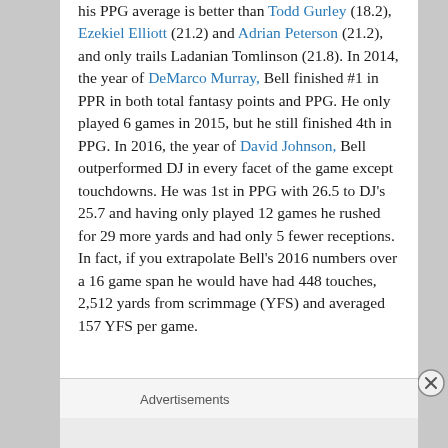his PPG average is better than Todd Gurley (18.2), Ezekiel Elliott (21.2) and Adrian Peterson (21.2), and only trails Ladanian Tomlinson (21.8). In 2014, the year of DeMarco Murray, Bell finished #1 in PPR in both total fantasy points and PPG. He only played 6 games in 2015, but he still finished 4th in PPG. In 2016, the year of David Johnson, Bell outperformed DJ in every facet of the game except touchdowns. He was 1st in PPG with 26.5 to DJ's 25.7 and having only played 12 games he rushed for 29 more yards and had only 5 fewer receptions. In fact, if you extrapolate Bell's 2016 numbers over a 16 game span he would have had 448 touches, 2,512 yards from scrimmage (YFS) and averaged 157 YFS per game.
Advertisements